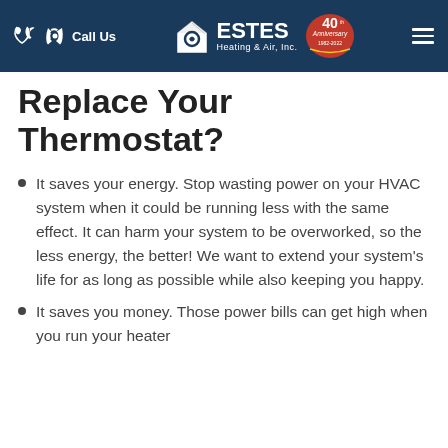Call Us | ESTES Heating & Air, Inc. | 40th Anniversary
Replace Your Thermostat?
It saves your energy. Stop wasting power on your HVAC system when it could be running less with the same effect. It can harm your system to be overworked, so the less energy, the better! We want to extend your system's life for as long as possible while also keeping you happy.
It saves you money. Those power bills can get high when you run your heater